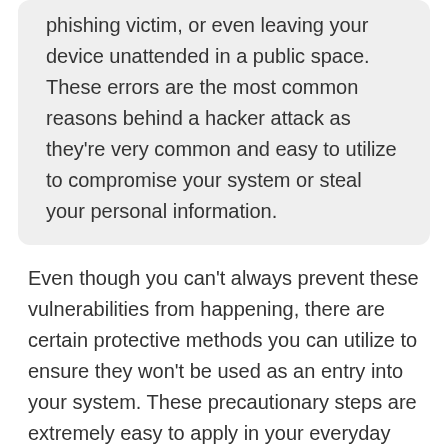phishing victim, or even leaving your device unattended in a public space. These errors are the most common reasons behind a hacker attack as they're very common and easy to utilize to compromise your system or steal your personal information.
Even though you can't always prevent these vulnerabilities from happening, there are certain protective methods you can utilize to ensure they won't be used as an entry into your system. These precautionary steps are extremely easy to apply in your everyday life and often won't even require you to purchase any overpriced software.
Protect Your Devices With These 12